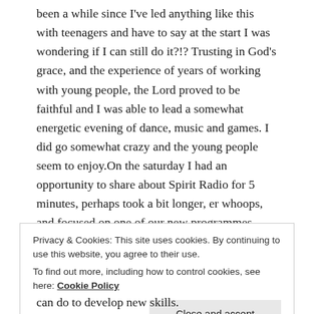been a while since I've led anything like this with teenagers and have to say at the start I was wondering if I can still do it?!? Trusting in God's grace, and the experience of years of working with young people, the Lord proved to be faithful and I was able to lead a somewhat energetic evening of dance, music and games. I did go somewhat crazy and the young people seem to enjoy.On the saturday I had an opportunity to share about Spirit Radio for 5 minutes, perhaps took a bit longer, er whoops, and focused on one of our new programmes staring in a couple of weeks focusing on real questions young people face hosted by Danny J on Monday nights from 10.
Privacy & Cookies: This site uses cookies. By continuing to use this website, you agree to their use.
To find out more, including how to control cookies, see here: Cookie Policy
Close and accept
can do to develop new skills.